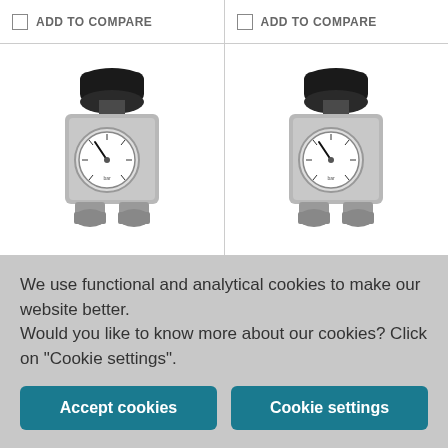ADD TO COMPARE
[Figure (photo): Pressure regulator with black knob on top and pressure gauge with white face, metallic body]
ADD TO COMPARE
[Figure (photo): Pressure regulator with black knob on top and pressure gauge with white face, metallic body]
We use functional and analytical cookies to make our website better.
Would you like to know more about our cookies? Click on "Cookie settings".
Accept cookies
Cookie settings